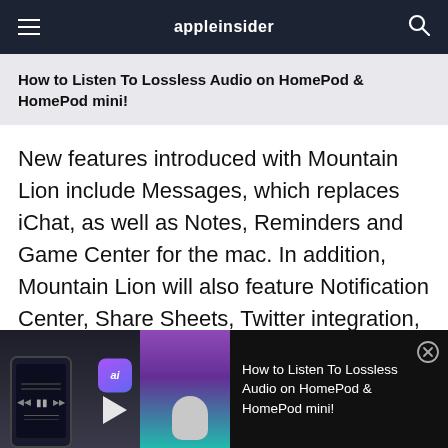appleinsider
How to Listen To Lossless Audio on HomePod & HomePod mini!
New features introduced with Mountain Lion include Messages, which replaces iChat, as well as Notes, Reminders and Game Center for the mac. In addition, Mountain Lion will also feature Notification Center, Share Sheets, Twitter integration, and AirPlay Mirroring.
[Figure (screenshot): Video player bar showing a thumbnail of a HomePod mini and iPhone with play controls, an 'ai' badge, and video title 'How to Listen To Lossless Audio on HomePod & HomePod mini!' with a close (X) button.]